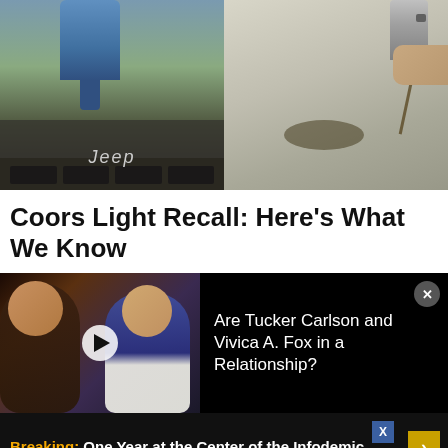[Figure (photo): Two-panel image: left side shows a hand holding a blue spray bottle over a Jeep hood; right side shows a hand pouring liquid from a beer can onto a surface.]
Coors Light Recall: Here’s What We Know
[Figure (photo): Advertisement video thumbnail showing two people (a Black woman and a man in a blue jacket) with a play button overlay. Text reads: Are Tucker Carlson and Vivica A. Fox in a Relationship?]
[Figure (infographic): Breaking news ad banner: 'Breaking: One Year at the Center of the Infodemic' with yellow Breaking label and arrow button.]